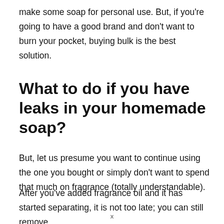make some soap for personal use. But, if you're going to have a good brand and don't want to burn your pocket, buying bulk is the best solution.
What to do if you have leaks in your homemade soap?
But, let us presume you want to continue using the one you bought or simply don't want to spend that much on fragrance (totally understandable).
After you've added fragrance oil and it has started separating, it is not too late; you can still remove